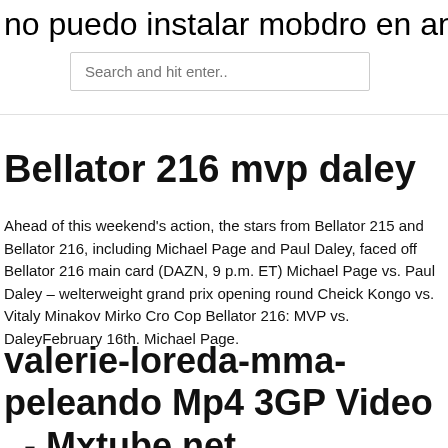no puedo instalar mobdro en android
Search and hit enter..
Bellator 216 mvp daley
Ahead of this weekend's action, the stars from Bellator 215 and Bellator 216, including Michael Page and Paul Daley, faced off Bellator 216 main card (DAZN, 9 p.m. ET) Michael Page vs. Paul Daley – welterweight grand prix opening round Cheick Kongo vs. Vitaly Minakov Mirko Cro Cop Bellator 216: MVP vs. DaleyFebruary 16th. Michael Page.
valerie-loreda-mma-peleando Mp4 3GP Video . - Mxtube.net